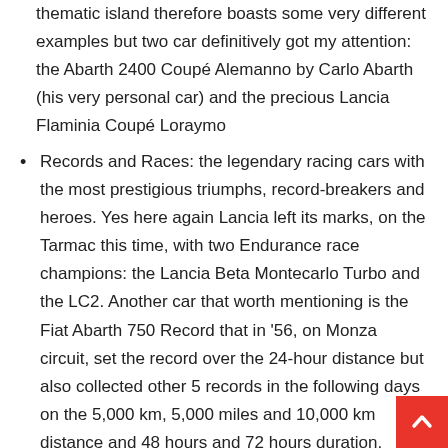thematic island therefore boasts some very different examples but two car definitively got my attention: the Abarth 2400 Coupé Alemanno by Carlo Abarth (his very personal car) and the precious Lancia Flaminia Coupé Loraymo
Records and Races: the legendary racing cars with the most prestigious triumphs, record-breakers and heroes. Yes here again Lancia left its marks, on the Tarmac this time, with two Endurance race champions: the Lancia Beta Montecarlo Turbo and the LC2. Another car that worth mentioning is the Fiat Abarth 750 Record that in '56, on Monza circuit, set the record over the 24-hour distance but also collected other 5 records in the following days on the 5,000 km, 5,000 miles and 10,000 km distance and 48 hours and 72 hours duration.
Amazing time travel, no doubt! But a big question arise now, can I visit this place? Well not at the moment… We haven't